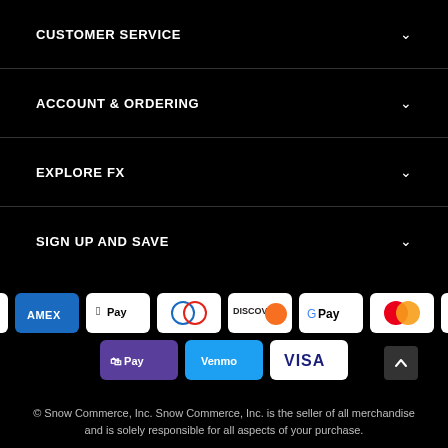CUSTOMER SERVICE
ACCOUNT & ORDERING
EXPLORE FX
SIGN UP AND SAVE
[Figure (logo): Payment method icons: Amazon, Amex, Apple Pay, Diners Club, Discover, Google Pay, Mastercard, PayPal, Shop Pay, Venmo, Visa]
© Snow Commerce, Inc. Snow Commerce, Inc. is the seller of all merchandise and is solely responsible for all aspects of your purchase.
[Figure (logo): Snow Commerce logo with snowflake icon]